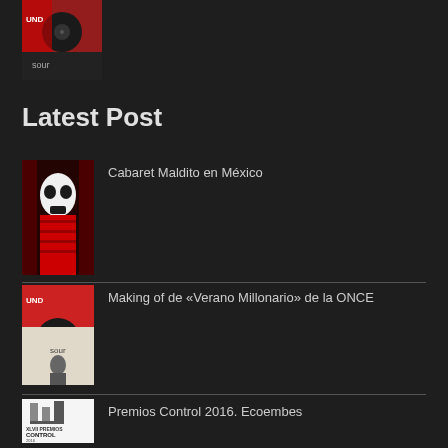[Figure (photo): Small thumbnail image at top left - record/vinyl and person]
Latest Post
[Figure (photo): Thumbnail of Cabaret Maldito - skull mask figure in red]
Cabaret Maldito en México
[Figure (photo): Thumbnail of Making of Verano Millonario - sound/music graphic]
Making of de «Verano Millonario» de la ONCE
[Figure (logo): Thumbnail of Premios Control 2016 Ecoembes logo - XLVII Premios Control 2016]
Premios Control 2016. Ecoembes